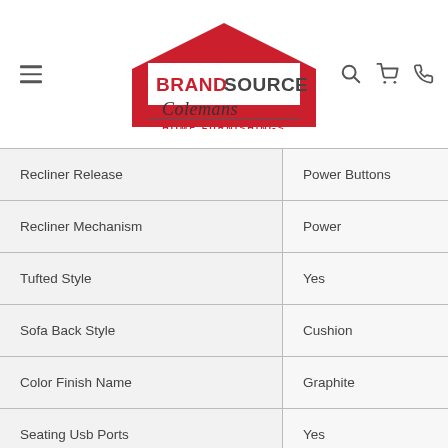[Figure (logo): BrandSource Colemans Home Furnishings logo with red house shape and script text, with navigation icons (hamburger menu, search, cart, phone)]
| Feature | Value |
| --- | --- |
| Recliner Release | Power Buttons |
| Recliner Mechanism | Power |
| Tufted Style | Yes |
| Sofa Back Style | Cushion |
| Color Finish Name | Graphite |
| Seating Usb Ports | Yes |